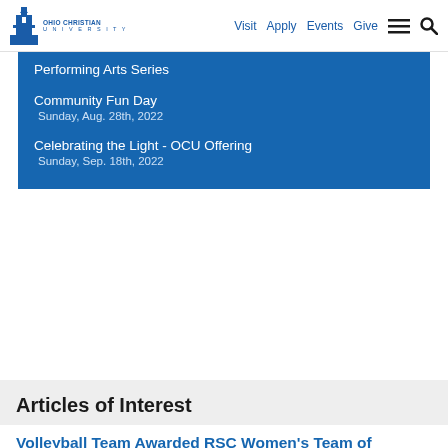Ohio Christian University — Visit Apply Events Give
Performing Arts Series
Community Fun Day — Sunday, Aug. 28th, 2022
Celebrating the Light - OCU Offering — Sunday, Sep. 18th, 2022
Articles of Interest
Volleyball Team Awarded RSC Women's Team of